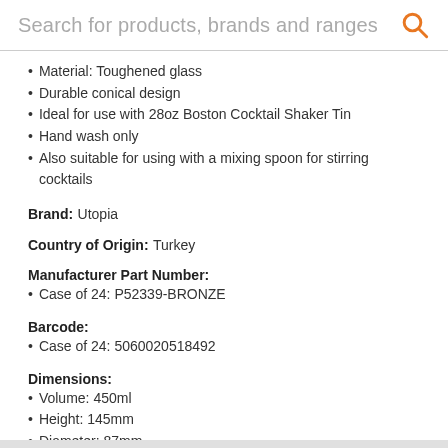Search for products, brands and ranges
Material: Toughened glass
Durable conical design
Ideal for use with 28oz Boston Cocktail Shaker Tin
Hand wash only
Also suitable for using with a mixing spoon for stirring cocktails
Brand: Utopia
Country of Origin: Turkey
Manufacturer Part Number:
Case of 24: P52339-BRONZE
Barcode:
Case of 24: 5060020518492
Dimensions:
Volume: 450ml
Height: 145mm
Diameter: 87mm
Weight: 479g